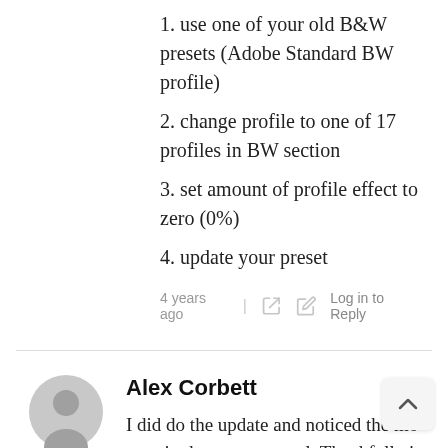1. use one of your old B&W presets (Adobe Standard BW profile)
2. change profile to one of 17 profiles in BW section
3. set amount of profile effect to zero (0%)
4. update your preset
4 years ago | Log in to Reply
Alex Corbett
I did do the update and noticed the mo over in the presets panel. Thankfully i